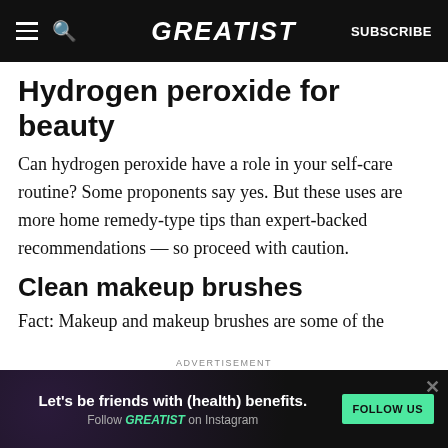GREATIST | SUBSCRIBE
Hydrogen peroxide for beauty
Can hydrogen peroxide have a role in your self-care routine? Some proponents say yes. But these uses are more home remedy-type tips than expert-backed recommendations — so proceed with caution.
Clean makeup brushes
Fact: Makeup and makeup brushes are some of the
[Figure (infographic): Advertisement banner: Let's be friends with (health) benefits. Follow GREATIST on Instagram. FOLLOW US button.]